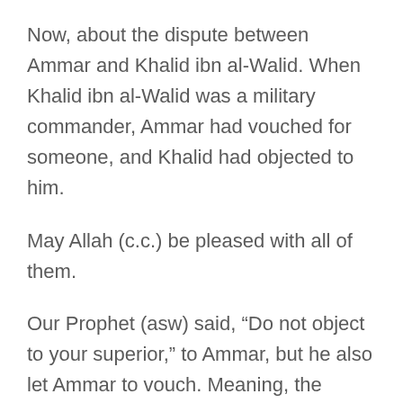Now, about the dispute between Ammar and Khalid ibn al-Walid. When Khalid ibn al-Walid was a military commander, Ammar had vouched for someone, and Khalid had objected to him.
May Allah (c.c.) be pleased with all of them.
Our Prophet (asw) said, “Do not object to your superior,” to Ammar, but he also let Ammar to vouch. Meaning, the superiors need to know their place; the officers need to know their place.